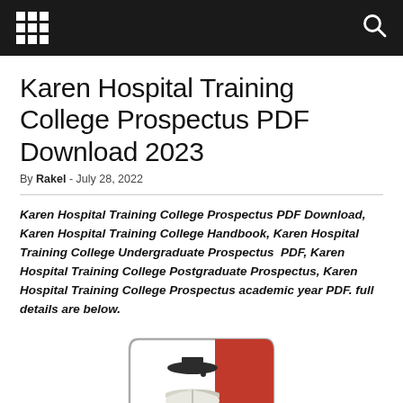Navigation bar with grid/apps icon and search icon
Karen Hospital Training College Prospectus PDF Download 2023
By Rakel - July 28, 2022
Karen Hospital Training College Prospectus PDF Download, Karen Hospital Training College Handbook, Karen Hospital Training College Undergraduate Prospectus  PDF, Karen Hospital Training College Postgraduate Prospectus, Karen Hospital Training College Prospectus academic year PDF. full details are below.
[Figure (logo): Karen Hospital Training College shield/crest logo with mortarboard, open book, stethoscope, and red panel]